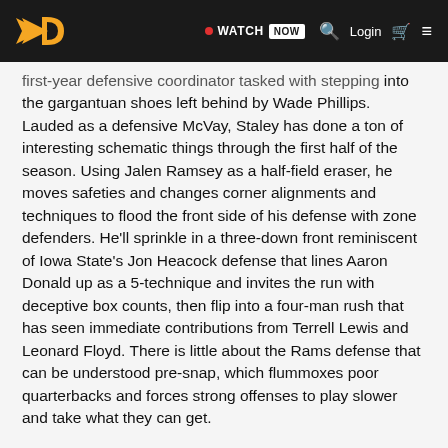WATCH NOW  Login
first-year defensive coordinator tasked with stepping into the gargantuan shoes left behind by Wade Phillips. Lauded as a defensive McVay, Staley has done a ton of interesting schematic things through the first half of the season. Using Jalen Ramsey as a half-field eraser, he moves safeties and changes corner alignments and techniques to flood the front side of his defense with zone defenders. He'll sprinkle in a three-down front reminiscent of Iowa State's Jon Heacock defense that lines Aaron Donald up as a 5-technique and invites the run with deceptive box counts, then flip into a four-man rush that has seen immediate contributions from Terrell Lewis and Leonard Floyd. There is little about the Rams defense that can be understood pre-snap, which flummoxes poor quarterbacks and forces strong offenses to play slower and take what they can get.